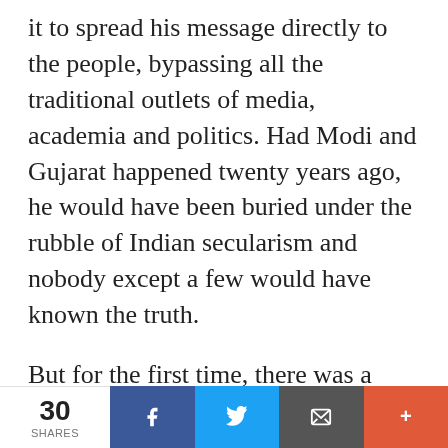it to spread his message directly to the people, bypassing all the traditional outlets of media, academia and politics. Had Modi and Gujarat happened twenty years ago, he would have been buried under the rubble of Indian secularism and nobody except a few would have known the truth.
But for the first time, there was a medium which enabled an otherwise isolated and vilified leader like Modi to make himself heard to the public. A strange
30 SHARES | Share on Facebook | Share on Twitter | Email | More